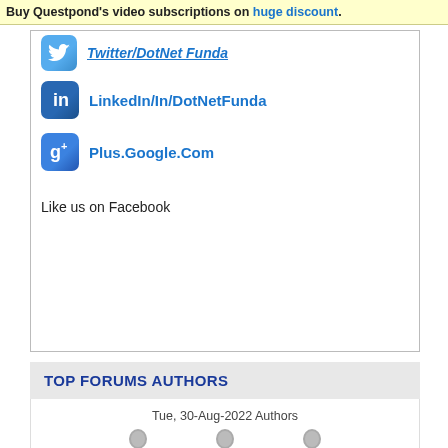Buy Questpond's video subscriptions on huge discount.
Twitter/DotNet Funda
LinkedIn/In/DotNetFunda
Plus.Google.Com
Like us on Facebook
TOP FORUMS AUTHORS
Tue, 30-Aug-2022 Authors